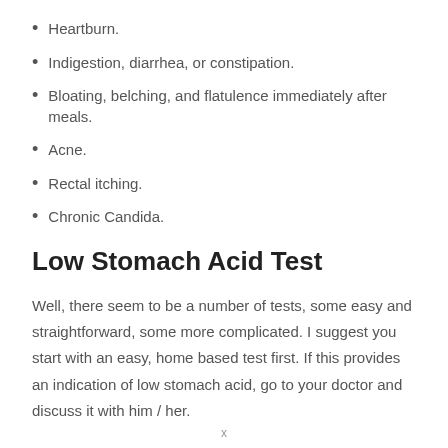Heartburn.
Indigestion, diarrhea, or constipation.
Bloating, belching, and flatulence immediately after meals.
Acne.
Rectal itching.
Chronic Candida.
Low Stomach Acid Test
Well, there seem to be a number of tests, some easy and straightforward, some more complicated. I suggest you start with an easy, home based test first. If this provides an indication of low stomach acid, go to your doctor and discuss it with him / her.
x